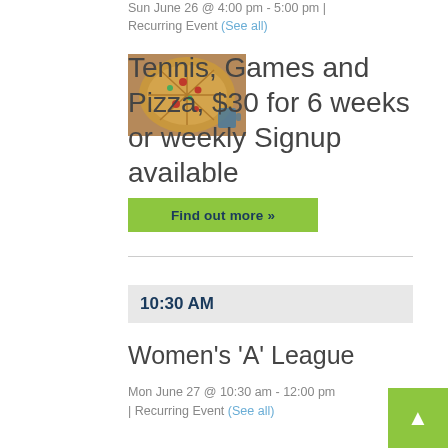Sun June 26 @ 4:00 pm - 5:00 pm | Recurring Event (See all)
[Figure (photo): Photo of a pizza on a wooden surface]
Tennis, Games and Pizza, $30 for 6 weeks or weekly Signup available
Find out more »
10:30 AM
Women's 'A' League
Mon June 27 @ 10:30 am - 12:00 pm | Recurring Event (See all)